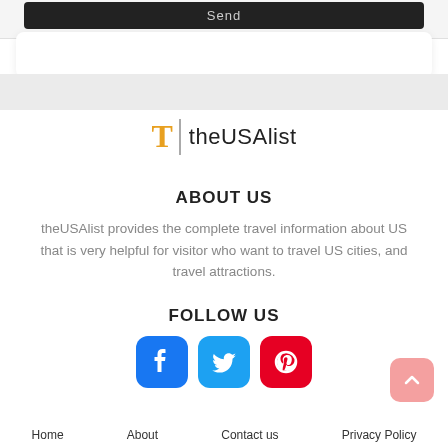[Figure (screenshot): Send button, dark background, partial UI element at top]
[Figure (logo): theUSAlist logo with orange T and vertical divider]
ABOUT US
theUSAlist provides the complete travel information about US that is very helpful for visitor who want to travel US cities, and travel attractions.
FOLLOW US
[Figure (infographic): Facebook, Twitter, Pinterest social media icons]
Home   About   Contact us   Privacy Policy